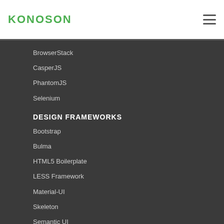[Figure (logo): KONOSON logo in green uppercase letters]
BrowserStack
CasperJS
PhantomJS
Selenium
DESIGN FRAMEWORKS
Bootstrap
Bulma
HTML5 Boilerplate
LESS Framework
Material-UI
Skeleton
Semantic UI
Tailwind CSS